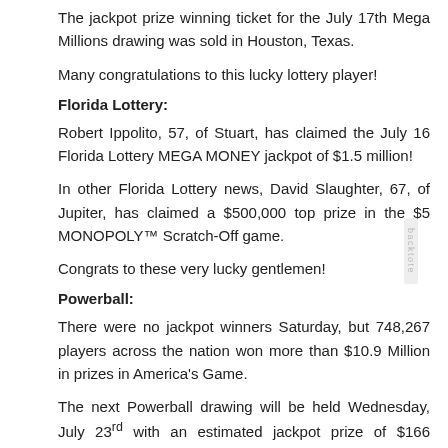The jackpot prize winning ticket for the July 17th Mega Millions drawing was sold in Houston, Texas.
Many congratulations to this lucky lottery player!
Florida Lottery:
Robert Ippolito, 57, of Stuart, has claimed the July 16 Florida Lottery MEGA MONEY jackpot of $1.5 million!
In other Florida Lottery news, David Slaughter, 67, of Jupiter, has claimed a $500,000 top prize in the $5 MONOPOLY™ Scratch-Off game.
Congrats to these very lucky gentlemen!
Powerball:
There were no jackpot winners Saturday, but 748,267 players across the nation won more than $10.9 Million in prizes in America's Game.
The next Powerball drawing will be held Wednesday, July 23rd with an estimated jackpot prize of $166 million, so get your tickets soon for a chance at this magnificent prize!
California Lottery: